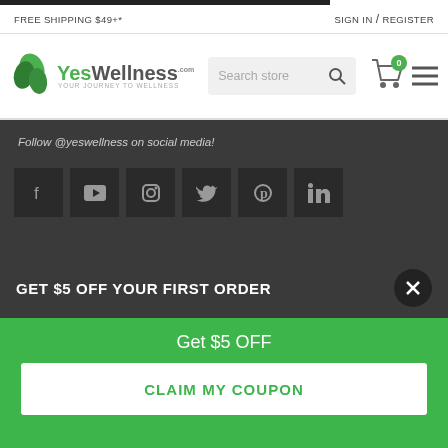FREE SHIPPING $49+*
SIGN IN / REGISTER
[Figure (logo): YesWellness.com logo with green leaf icon and tagline 'Your Journey To Wellness']
Search store
Follow @yeswellness on social media!
[Figure (infographic): Row of 6 social media icon boxes: Facebook, YouTube, Instagram, Twitter, Pinterest, LinkedIn]
GET $5 OFF YOUR FIRST ORDER
Get $5 OFF
CLAIM MY COUPON